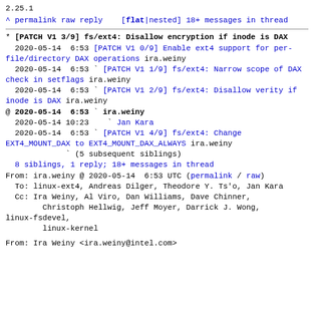2.25.1
^ permalink raw reply [flat|nested] 18+ messages in thread
* [PATCH V1 3/9] fs/ext4: Disallow encryption if inode is DAX
  2020-05-14  6:53 [PATCH V1 0/9] Enable ext4 support for per-file/directory DAX operations ira.weiny
  2020-05-14  6:53 ` [PATCH V1 1/9] fs/ext4: Narrow scope of DAX check in setflags ira.weiny
  2020-05-14  6:53 ` [PATCH V1 2/9] fs/ext4: Disallow verity if inode is DAX ira.weiny
@ 2020-05-14  6:53 ` ira.weiny
  2020-05-14 10:23   ` Jan Kara
  2020-05-14  6:53 ` [PATCH V1 4/9] fs/ext4: Change EXT4_MOUNT_DAX to EXT4_MOUNT_DAX_ALWAYS ira.weiny
             ` (5 subsequent siblings)
  8 siblings, 1 reply; 18+ messages in thread
From: ira.weiny @ 2020-05-14  6:53 UTC (permalink / raw)
  To: linux-ext4, Andreas Dilger, Theodore Y. Ts'o, Jan Kara
  Cc: Ira Weiny, Al Viro, Dan Williams, Dave Chinner,
        Christoph Hellwig, Jeff Moyer, Darrick J. Wong,
linux-fsdevel,
        linux-kernel
From: Ira Weiny <ira.weiny@intel.com>